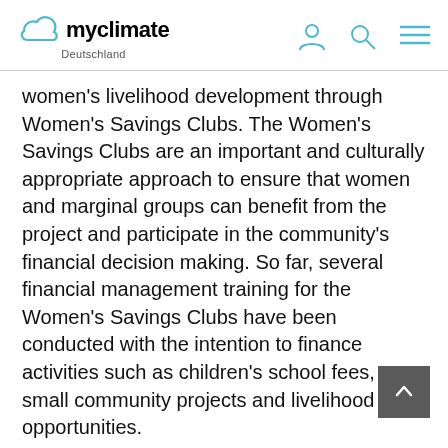myclimate Deutschland
women's livelihood development through Women's Savings Clubs. The Women's Savings Clubs are an important and culturally appropriate approach to ensure that women and marginal groups can benefit from the project and participate in the community's financial decision making. So far, several financial management training for the Women's Savings Clubs have been conducted with the intention to finance activities such as children's school fees, small community projects and livelihood opportunities.
Employment is provided to community rangers, who are paid to monitor and protect the rainforest. The rangers have been provided with training and resources to increase their skillset in land management and conduct forest inventories and biodiversity monitoring. A local conservation